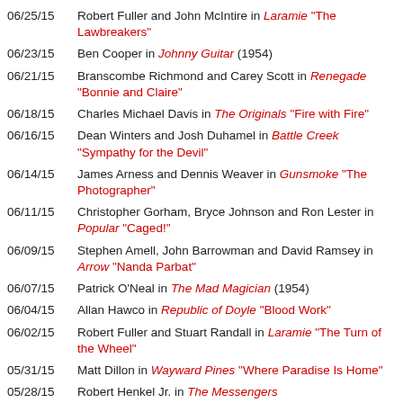06/25/15 Robert Fuller and John McIntire in Laramie "The Lawbreakers"
06/23/15 Ben Cooper in Johnny Guitar (1954)
06/21/15 Branscombe Richmond and Carey Scott in Renegade "Bonnie and Claire"
06/18/15 Charles Michael Davis in The Originals "Fire with Fire"
06/16/15 Dean Winters and Josh Duhamel in Battle Creek "Sympathy for the Devil"
06/14/15 James Arness and Dennis Weaver in Gunsmoke "The Photographer"
06/11/15 Christopher Gorham, Bryce Johnson and Ron Lester in Popular "Caged!"
06/09/15 Stephen Amell, John Barrowman and David Ramsey in Arrow "Nanda Parbat"
06/07/15 Patrick O'Neal in The Mad Magician (1954)
06/04/15 Allan Hawco in Republic of Doyle "Blood Work"
06/02/15 Robert Fuller and Stuart Randall in Laramie "The Turn of the Wheel"
05/31/15 Matt Dillon in Wayward Pines "Where Paradise Is Home"
05/28/15 Robert Henkel Jr. in The Messengers